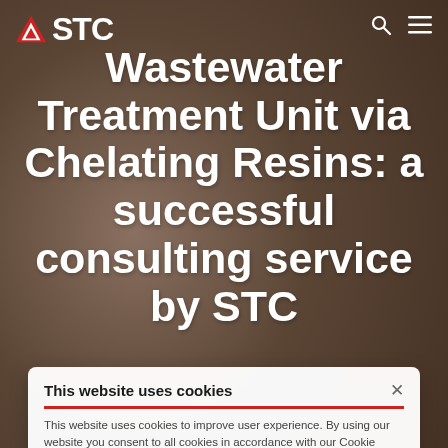[Figure (photo): Close-up photo of rough grainy brown/gray textured surface (possibly concrete or mineral), used as hero background image.]
STC
Wastewater Treatment Unit via Chelating Resins: a successful consulting service by STC
This website uses cookies
This website uses cookies to improve user experience. By using our website you consent to all cookies in accordance with our Cookie Policy.
Read more
ACCEPT ALL
DECLINE ALL
SHOW DETAILS
Water
In order to reduce the contamination of the canals water around Milan, a well-known lead acid battery